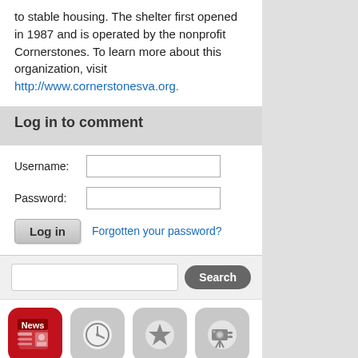to stable housing. The shelter first opened in 1987 and is operated by the nonprofit Cornerstones. To learn more about this organization, visit http://www.cornerstonesva.org.
Log in to comment
Username: [input] Password: [input] Log in | Forgotten your password?
Search [input] [Search button]
[Figure (screenshot): App icon grid: News (active, red), Events (clock), Best bets (star), Movies (film camera). Partial row of icons below.]